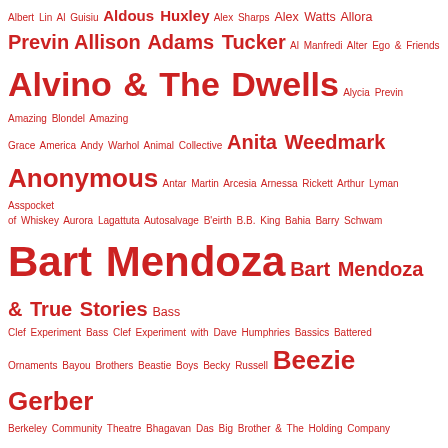Albert Lin Al Guisiu Aldous Huxley Alex Sharps Alex Watts Allora Previn Allison Adams Tucker Al Manfredi Alter Ego & Friends Alvino & The Dwells Alycia Previn Amazing Blondel Amazing Grace America Andy Warhol Animal Collective Anita Weedmark Anonymous Antar Martin Arcesia Arnessa Rickett Arthur Lyman Asspocket of Whiskey Aurora Lagattuta Autosalvage B'eirth B.B. King Bahia Barry Schwam Bart Mendoza Bart Mendoza & True Stories Bass Clef Experiment Bass Clef Experiment with Dave Humphries Bassics Battered Ornaments Bayou Brothers Beastie Boys Becky Russell Beezie Gerber Berkeley Community Theatre Bhagavan Das Big Brother & The Holding Company Big Daddy Big Jon Atkinson Big Star Bill Heid Billy J. Kramer Billy Watson Birds & Arrows Black Moth Super Rainbow Blindspot Records Blood Sweat &Tears Blue Cheer Blue Frog Trio Blue Velvet Bob Boss Bob Dylan Bob Magnussen Boone Reid Brad Rose Brogue Wave Brother Love Brothers of the Occult Sisterhood Bruce Frye Bruce Stewart Brute Force Bryna Golden Bubba McCoy Buck Owens & The Buckaroos Buddy Guy Burt Tee C.O.B. Cadillac Wreckers Caedmon Caitlin Ashley Caitlin